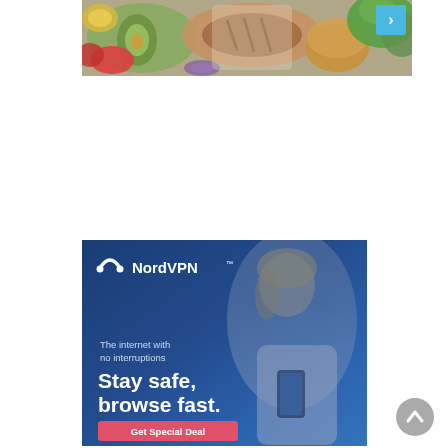[Figure (photo): Food banner image showing ingredients including avocado, tomatoes, grilled meat, burger bun, and green salad leaves from top-down view, with a blue right-arrow button in top-right corner]
[Figure (screenshot): NordVPN advertisement banner with blue gradient background and woman looking at phone. Contains NordVPN logo, tagline 'The internet with no interruptions', headline 'Stay safe, browse fast.' and a coral/pink 'Get Special Deal' CTA button]
[Figure (illustration): Gray circular scroll-to-top button with upward-pointing chevron arrow in bottom right corner]